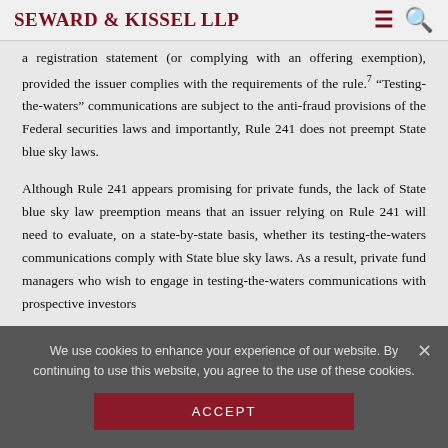Seward & Kissel LLP
a registration statement (or complying with an offering exemption), provided the issuer complies with the requirements of the rule.7 “Testing-the-waters” communications are subject to the anti-fraud provisions of the Federal securities laws and importantly, Rule 241 does not preempt State blue sky laws.
Although Rule 241 appears promising for private funds, the lack of State blue sky law preemption means that an issuer relying on Rule 241 will need to evaluate, on a state-by-state basis, whether its testing-the-waters communications comply with State blue sky laws. As a result, private fund managers who wish to engage in testing-the-waters communications with prospective investors
We use cookies to enhance your experience of our website. By continuing to use this website, you agree to the use of these cookies. ACCEPT